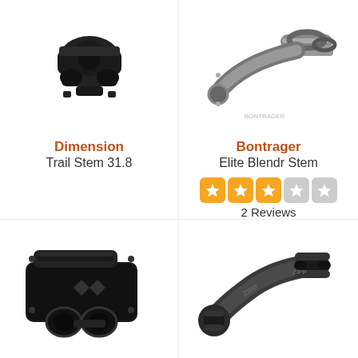[Figure (photo): Dimension Trail Stem 31.8 - black bicycle stem product photo, top-left]
Dimension
Trail Stem 31.8
[Figure (photo): Bontrager Elite Blendr Stem - silver/black bicycle stem product photo, top-right]
Bontrager
Elite Blendr Stem
[Figure (other): Star rating: 3 out of 5 stars, orange filled stars]
2 Reviews
[Figure (photo): BOX Cusp Stem - large black bicycle stem product photo, bottom-left]
BOX
Cusp Stem
[Figure (photo): Zipp SL Speed Stem - dark gray bicycle stem product photo, bottom-right]
Zipp
SL Speed Stem